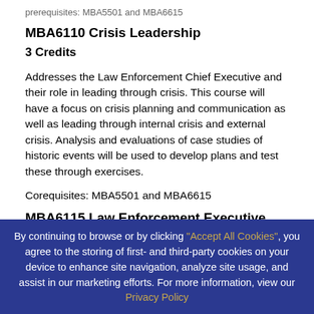prerequisites: MBA5501 and MBA6615
MBA6110 Crisis Leadership
3 Credits
Addresses the Law Enforcement Chief Executive and their role in leading through crisis. This course will have a focus on crisis planning and communication as well as leading through internal crisis and external crisis. Analysis and evaluations of case studies of historic events will be used to develop plans and test these through exercises.
Corequisites: MBA5501 and MBA6615
MBA6115 Law Enforcement Executive Policy and Planning
credits
By continuing to browse or by clicking "Accept All Cookies", you agree to the storing of first- and third-party cookies on your device to enhance site navigation, analyze site usage, and assist in our marketing efforts. For more information, view our Privacy Policy